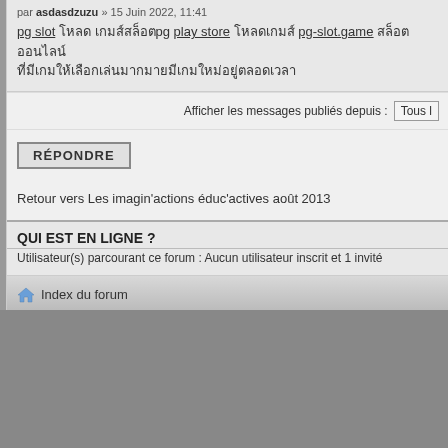par asdasdzuzu » 15 Juin 2022, 11:41
pg slot โหลด เกมส์สล็อตpg play store โหลดเกมส์ pg-slot.game สล็อตออนไลน์ ที่มีเกมให้เลือกเล่นมากมายมีเกมใหม่อยู่ตลอดเวลา
Afficher les messages publiés depuis : Tous l
RÉPONDRE
Retour vers Les imagin'actions éduc'actives août 2013
QUI EST EN LIGNE ?
Utilisateur(s) parcourant ce forum : Aucun utilisateur inscrit et 1 invité
Index du forum
Propulsé p
Traduction et supp